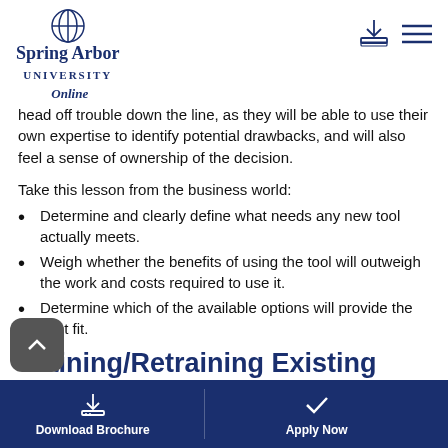Spring Arbor University Online
head off trouble down the line, as they will be able to use their own expertise to identify potential drawbacks, and will also feel a sense of ownership of the decision.
Take this lesson from the business world:
Determine and clearly define what needs any new tool actually meets.
Weigh whether the benefits of using the tool will outweigh the work and costs required to use it.
Determine which of the available options will provide the best fit.
Training/Retraining Existing
Download Brochure   Apply Now